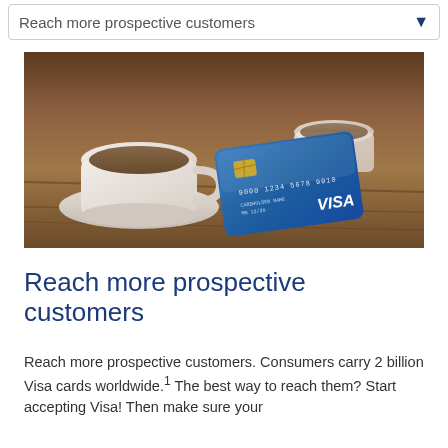Reach more prospective customers
[Figure (photo): A hand holding a blue Visa credit card in front of coffee cups on a wooden table in a cafe setting]
Reach more prospective customers
Reach more prospective customers. Consumers carry 2 billion Visa cards worldwide.¹ The best way to reach them? Start accepting Visa! Then make sure your